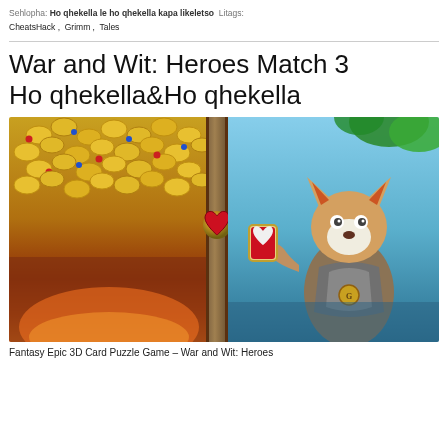Sehlopha: Ho qhekella le ho qhekella kapa likeletso Litags: CheatsHack, Grimm, Tales
War and Wit: Heroes Match 3 Ho qhekella&Ho qhekella
[Figure (photo): Game screenshot split image: left side shows pile of gold coins on dark fantasy background with sunset glow at bottom; right side shows 3D animated fox character in armor holding a heart shield card, set against blue sky with tropical foliage.]
Fantasy Epic 3D Card Puzzle Game – War and Wit: Heroes